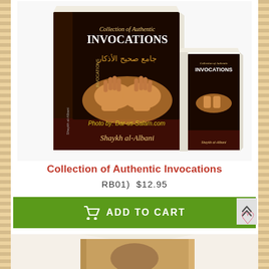[Figure (photo): Two books titled 'Collection of Authentic INVOCATIONS' by Shaykh al-Albani, one large and one small, showing hands raised in prayer on the cover. Watermark: Photo by: Dar-us-Salam.com]
Collection of Authentic Invocations
RB01)  $12.95
ADD TO CART
[Figure (photo): Partial view of a second book at the bottom of the page]